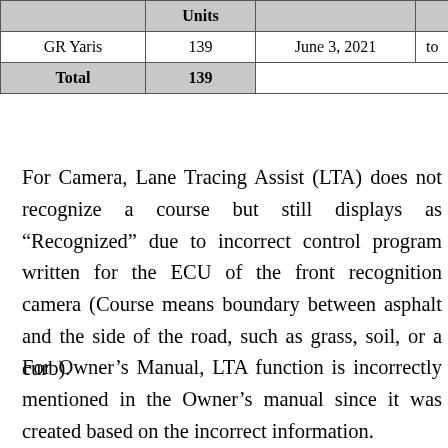|  | Units |  | to |
| --- | --- | --- | --- |
| GR Yaris | 139 | June 3, 2021 | to |
| Total | 139 |  |  |
For Camera, Lane Tracing Assist (LTA) does not recognize a course but still displays as “Recognized” due to incorrect control program written for the ECU of the front recognition camera (Course means boundary between asphalt and the side of the road, such as grass, soil, or a curb).
For Owner’s Manual, LTA function is incorrectly mentioned in the Owner’s manual since it was created based on the incorrect information.